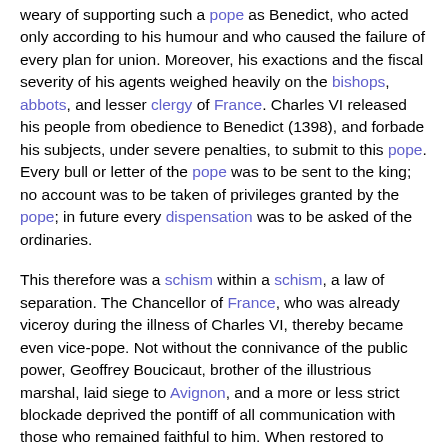weary of supporting such a pope as Benedict, who acted only according to his humour and who caused the failure of every plan for union. Moreover, his exactions and the fiscal severity of his agents weighed heavily on the bishops, abbots, and lesser clergy of France. Charles VI released his people from obedience to Benedict (1398), and forbade his subjects, under severe penalties, to submit to this pope. Every bull or letter of the pope was to be sent to the king; no account was to be taken of privileges granted by the pope; in future every dispensation was to be asked of the ordinaries.
This therefore was a schism within a schism, a law of separation. The Chancellor of France, who was already viceroy during the illness of Charles VI, thereby became even vice-pope. Not without the connivance of the public power, Geoffrey Boucicaut, brother of the illustrious marshal, laid siege to Avignon, and a more or less strict blockade deprived the pontiff of all communication with those who remained faithful to him. When restored to liberty in 1403 Benedict had not become more conciliating, less obstinate or